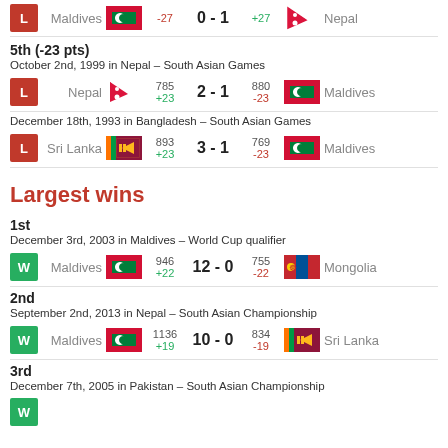L  Maldives  -27  0-1  +27  Nepal
5th (-23 pts)
October 2nd, 1999 in Nepal – South Asian Games
L  Nepal  785 +23  2-1  880 -23  Maldives
December 18th, 1993 in Bangladesh – South Asian Games
L  Sri Lanka  893 +23  3-1  769 -23  Maldives
Largest wins
1st
December 3rd, 2003 in Maldives – World Cup qualifier
W  Maldives  946 +22  12-0  755 -22  Mongolia
2nd
September 2nd, 2013 in Nepal – South Asian Championship
W  Maldives  1136 +19  10-0  834 -19  Sri Lanka
3rd
December 7th, 2005 in Pakistan – South Asian Championship